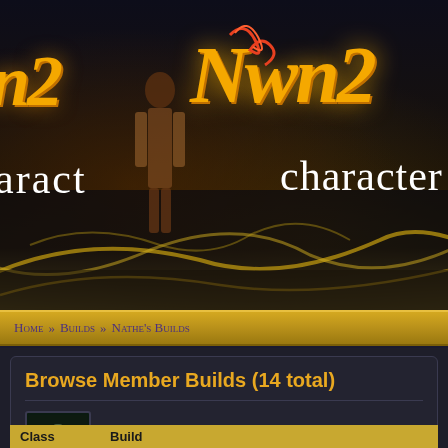[Figure (screenshot): NWN2 character builder website banner with game logo and dark fantasy background showing a character in a dungeon setting with golden swirling ground patterns]
Home » Builds » Nathe's Builds
Browse Member Builds (14 total)
Builds by Nathe
Experience: Moderate
Page: 1   Jump: Page 1
| Class | Build |
| --- | --- |